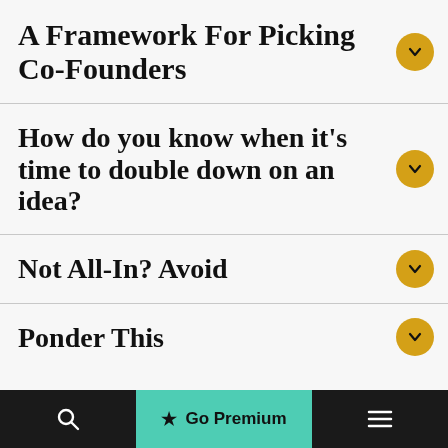A Framework For Picking Co-Founders
How do you know when it's time to double down on an idea?
Not All-In? Avoid
Ponder This